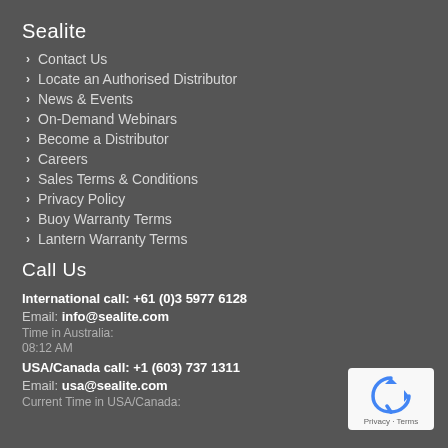Sealite
Contact Us
Locate an Authorised Distributor
News & Events
On-Demand Webinars
Become a Distributor
Careers
Sales Terms & Conditions
Privacy Policy
Buoy Warranty Terms
Lantern Warranty Terms
Call Us
International call: +61 (0)3 5977 6128
Email: info@sealite.com
Time in Australia:
08:12 AM
USA/Canada call: +1 (603) 737 1311
Email: usa@sealite.com
Current Time in USA/Canada:
[Figure (logo): reCAPTCHA badge with recycling-style arrow logo and Privacy - Terms text]